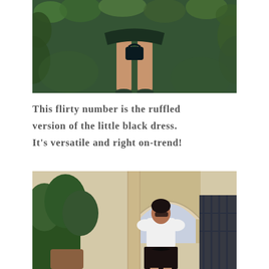[Figure (photo): Close-up photo showing the lower half of a woman wearing a dark green ruffled mini dress, standing outdoors among green foliage, holding a small dark handbag.]
This flirty number is the ruffled version of the little black dress. It's versatile and right on-trend!
[Figure (photo): Full-length photo of a woman standing in front of a stone archway and ornate iron gate, wearing a white ruffled long-sleeve top and a black skirt with a large bow, with lush green plants in the foreground.]